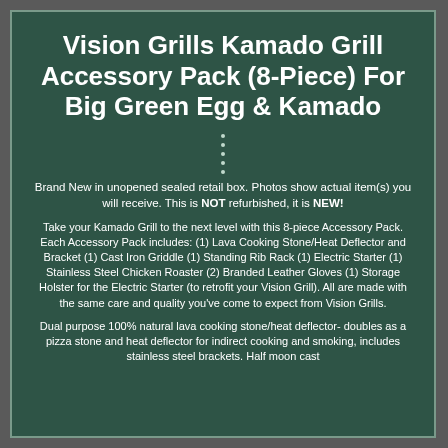Vision Grills Kamado Grill Accessory Pack (8-Piece) For Big Green Egg & Kamado
Brand New in unopened sealed retail box. Photos show actual item(s) you will receive. This is NOT refurbished, it is NEW!
Take your Kamado Grill to the next level with this 8-piece Accessory Pack. Each Accessory Pack includes: (1) Lava Cooking Stone/Heat Deflector and Bracket (1) Cast Iron Griddle (1) Standing Rib Rack (1) Electric Starter (1) Stainless Steel Chicken Roaster (2) Branded Leather Gloves (1) Storage Holster for the Electric Starter (to retrofit your Vision Grill). All are made with the same care and quality you've come to expect from Vision Grills.
Dual purpose 100% natural lava cooking stone/heat deflector- doubles as a pizza stone and heat deflector for indirect cooking and smoking, includes stainless steel brackets. Half moon cast...